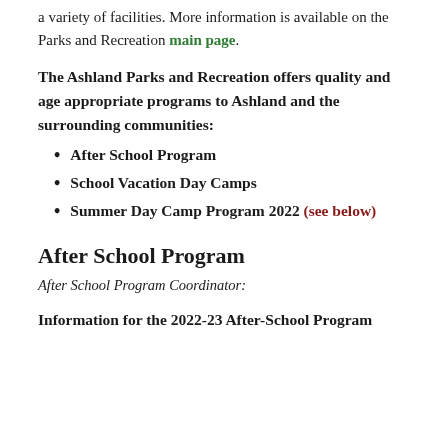a variety of facilities. More information is available on the Parks and Recreation main page.
The Ashland Parks and Recreation offers quality and age appropriate programs to Ashland and the surrounding communities:
After School Program
School Vacation Day Camps
Summer Day Camp Program 2022 (see below)
After School Program
After School Program Coordinator:
Information for the 2022-23 After-School Program